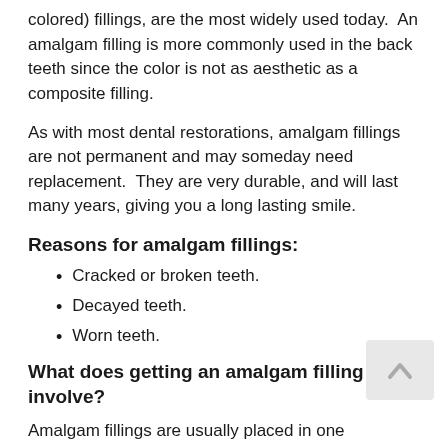colored) fillings, are the most widely used today.  An amalgam filling is more commonly used in the back teeth since the color is not as aesthetic as a composite filling.
As with most dental restorations, amalgam fillings are not permanent and may someday need replacement.  They are very durable, and will last many years, giving you a long lasting smile.
Reasons for amalgam fillings:
Cracked or broken teeth.
Decayed teeth.
Worn teeth.
What does getting an amalgam filling involve?
Amalgam fillings are usually placed in one appointment.  While the tooth is numb, your dentist will remove decay as necessary.  The space will then be thoroughly cleansed